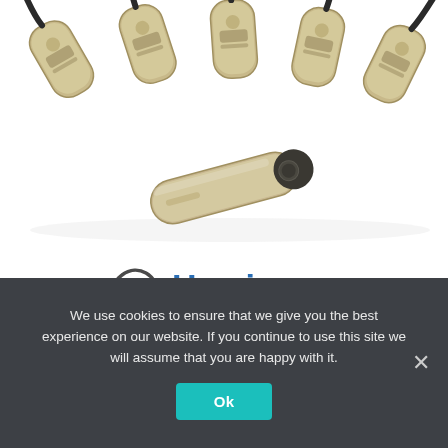[Figure (photo): Multiple gold/champagne colored hearing loop transmitter devices with black cables fanned out, and a single elongated hearing loop remote/mic device below them, above the HearingLoop.co.uk logo]
We use cookies to ensure that we give you the best experience on our website. If you continue to use this site we will assume that you are happy with it.